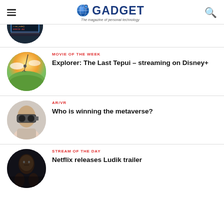GADGET — The magazine of personal technology
[Figure (photo): Partial circular thumbnail of laptop/code screen, top of article list]
MOVIE OF THE WEEK
Explorer: The Last Tepui – streaming on Disney+
[Figure (photo): Circular thumbnail of person rappelling down a cliff with dramatic sky]
AR/VR
Who is winning the metaverse?
[Figure (photo): Circular thumbnail of person wearing VR headset like binoculars]
STREAM OF THE DAY
Netflix releases Ludik trailer
[Figure (photo): Circular thumbnail of dramatic movie poster with figures]